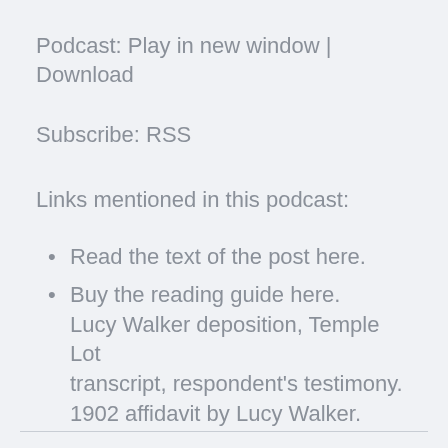Podcast: Play in new window | Download
Subscribe: RSS
Links mentioned in this podcast:
Read the text of the post here.
Buy the reading guide here. Lucy Walker deposition, Temple Lot transcript, respondent's testimony. 1902 affidavit by Lucy Walker.